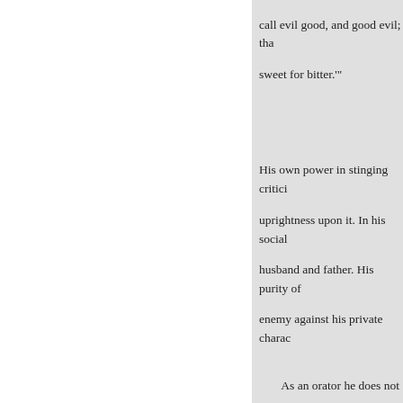call evil good, and good evil; that sweet for bitter.'
His own power in stinging critici uprightness upon it. In his social husband and father. His purity of enemy against his private charac
As an orator he does not occup style of speaking. Yet in spite of
It is by simple force of the ide arrests the attention of the hearer in his writings or speeches, he is t means lacks geniality of characte
We presume that there is no livin William Lloyd Garrison, but we those of the majority of his cotem
The hi ory of th